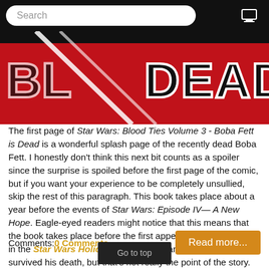Search
[Figure (illustration): Partial view of a comic book cover showing red background with white diagonal lines and stylized text reading 'DEAD' in dark letters with white outline, referencing Star Wars: Blood Ties Volume 3 - Boba Fett is Dead]
The first page of Star Wars: Blood Ties Volume 3 - Boba Fett is Dead is a wonderful splash page of the recently dead Boba Fett. I honestly don't think this next bit counts as a spoiler since the surprise is spoiled before the first page of the comic, but if you want your experience to be completely unsullied, skip the rest of this paragraph. This book takes place about a year before the events of Star Wars: Episode IV— A New Hope. Eagle-eyed readers might notice that this means that the book takes place before the first appearance of Boba Fett in the Star Wars Holiday Special.* Clearly, Boba Fett survived his death, but that's not really the point of the story.
Comments: 0 Comments
Read more...
Go to top